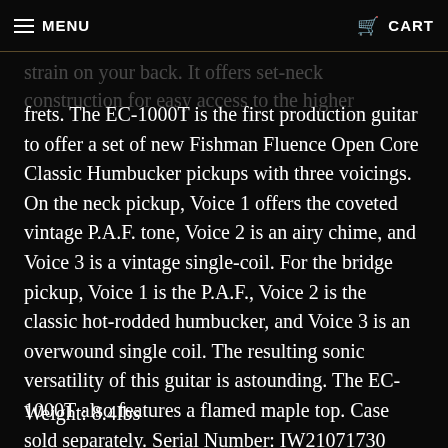MENU   CART
strain on your back. It offers set-neck construction for easy access to the higher frets. The EC-1000T is the first production guitar to offer a set of new Fishman Fluence Open Core Classic Humbucker pickups with three voicings. On the neck pickup, Voice 1 offers the coveted vintage P.A.F. tone, Voice 2 is an airy chime, and Voice 3 is a vintage single-coil. For the bridge pickup, Voice 1 is the P.A.F., Voice 2 is the classic hot-rodded humbucker, and Voice 3 is an overwound single coil. The resulting sonic versatility of this guitar is astounding. The EC-1000T also features a flamed maple top. Case sold separately. Serial Number: IW21071730
Weight: 8.4lbs